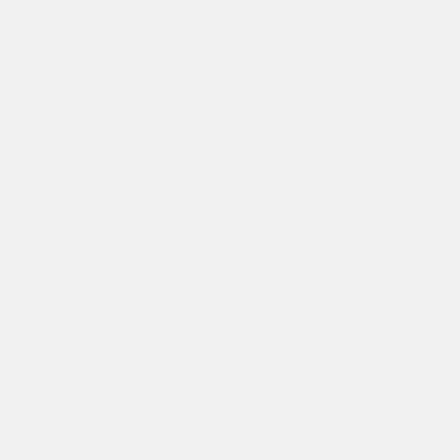0.com/2022/04/28/apple-best-worst-... - 4/29/2022 - Anonymous
Congrats!
  Congrats! - 4/28/2022 - Anonymous
Worth visiting
Vector
Apple 3.0
Above Avalon
Asymco
Financial Alchemist
The AAPL Tree
RoughlyDrafted